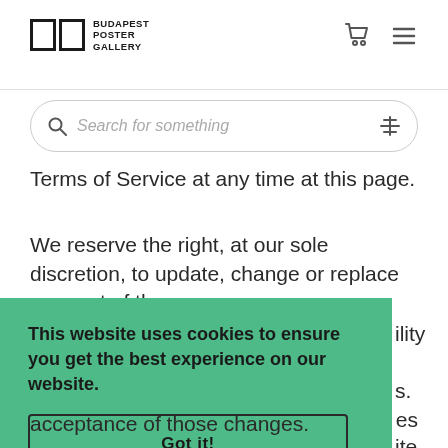Budapest Poster Gallery
Search for something
Terms of Service at any time at this page.
We reserve the right, at our sole discretion, to update, change or replace any part of these
This website uses cookies to ensure you get the best experience on our website.
Got it!
acceptance of those changes.